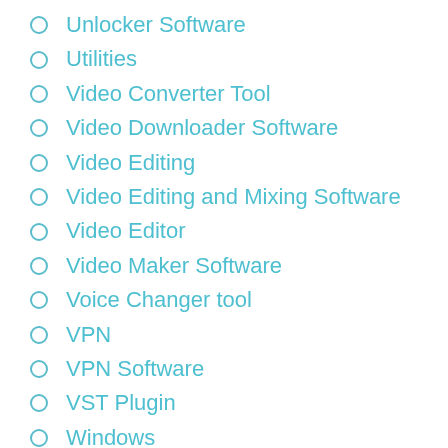Unlocker Software
Utilities
Video Converter Tool
Video Downloader Software
Video Editing
Video Editing and Mixing Software
Video Editor
Video Maker Software
Voice Changer tool
VPN
VPN Software
VST Plugin
Windows
Youtube Video Downloader tool